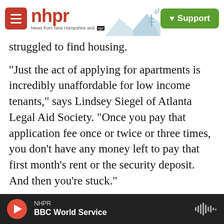NHPR — News from New Hampshire and NPR | Support
struggled to find housing.
"Just the act of applying for apartments is incredibly unaffordable for low income tenants," says Lindsey Siegel of Atlanta Legal Aid Society. "Once you pay that application fee once or twice or three times, you don't have any money left to pay that first month's rent or the security deposit. And then you're stuck."
Dana Johnson was given an eviction notice after losing her job as a property leasing agent last year. The 54-year-old lives northeast of Atlanta and was
NHPR | BBC World Service